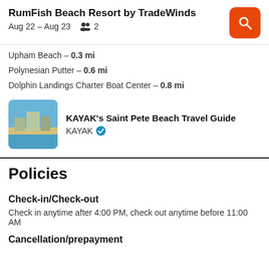RumFish Beach Resort by TradeWinds
Aug 22 – Aug 23   2
Upham Beach – 0.3 mi
Polynesian Putter – 0.6 mi
Dolphin Landings Charter Boat Center – 0.8 mi
[Figure (photo): Thumbnail of Saint Pete Beach aerial/coastal view]
KAYAK's Saint Pete Beach Travel Guide
KAYAK ✓
Policies
Check-in/Check-out
Check in anytime after 4:00 PM, check out anytime before 11:00 AM
Cancellation/prepayment